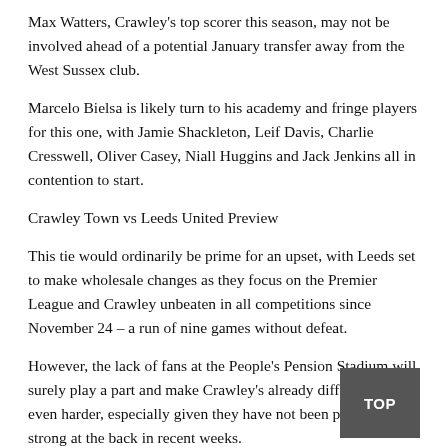Max Watters, Crawley’s top scorer this season, may not be involved ahead of a potential January transfer away from the West Sussex club.
Marcelo Bielsa is likely turn to his academy and fringe players for this one, with Jamie Shackleton, Leif Davis, Charlie Cresswell, Oliver Casey, Niall Huggins and Jack Jenkins all in contention to start.
Crawley Town vs Leeds United Preview
This tie would ordinarily be prime for an upset, with Leeds set to make wholesale changes as they focus on the Premier League and Crawley unbeaten in all competitions since November 24 – a run of nine games without defeat.
However, the lack of fans at the People’s Pension Stadium will surely play a part and make Crawley’s already difficult job even harder, especially given they have not been particularly strong at the back in recent weeks.
Although going well results-wise and in attack with 17 goals in their last nine games, the Reds have managed only one clean sheet in that